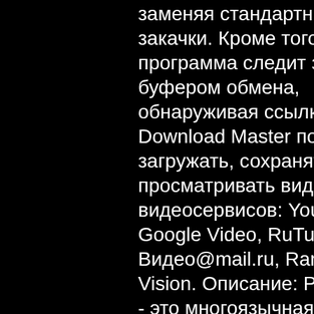заменяя стандартный модуль закачки. Кроме того, программа следит за буфером обмена, обнаруживая ссылки. Download Master позволяет загружать, сохранять и просматривать видео с таких видеосервисов: YouTube, Google Video, RuTube, Видео@mail.ru, Rambler Vision. Описание: Pragma 5.x - это многоязычная программа машинного перевода для перевода текстовых документов с одного языка на другой. Программа поддерживает семь языков: английский, русский, украинский,